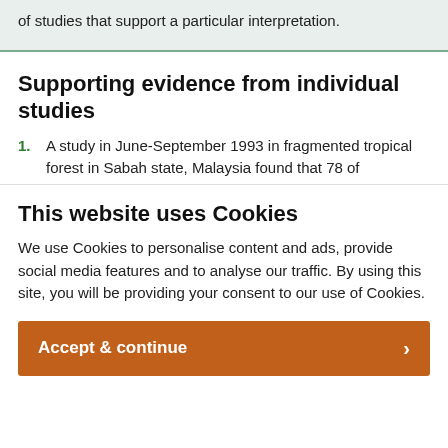of studies that support a particular interpretation.
Supporting evidence from individual studies
1. A study in June-September 1993 in fragmented tropical forest in Sabah state, Malaysia found that 78 of
This website uses Cookies
We use Cookies to personalise content and ads, provide social media features and to analyse our traffic. By using this site, you will be providing your consent to our use of Cookies.
Accept & continue